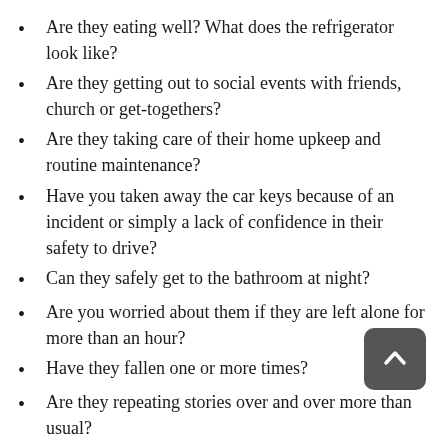Are they eating well? What does the refrigerator look like?
Are they getting out to social events with friends, church or get-togethers?
Are they taking care of their home upkeep and routine maintenance?
Have you taken away the car keys because of an incident or simply a lack of confidence in their safety to drive?
Can they safely get to the bathroom at night?
Are you worried about them if they are left alone for more than an hour?
Have they fallen one or more times?
Are they repeating stories over and over more than usual?
Are they having issues with doctors/appointments?